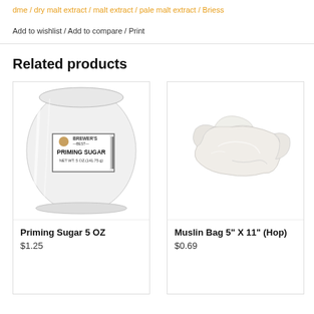dme / dry malt extract / malt extract / pale malt extract / Briess
Add to wishlist / Add to compare / Print
Related products
[Figure (photo): Brewer's Best Priming Sugar 5 oz bag in white plastic packaging with label]
Priming Sugar 5 OZ
$1.25
[Figure (photo): White muslin bag crumpled on white background]
Muslin Bag 5" X 11" (Hop)
$0.69